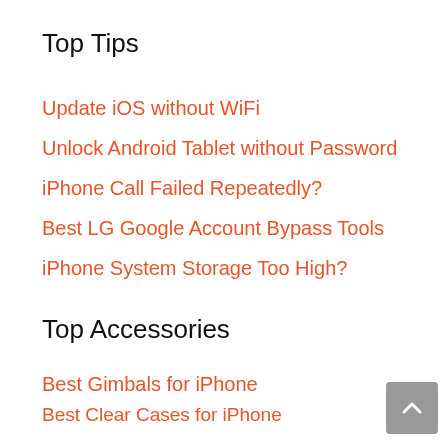Top Tips
Update iOS without WiFi
Unlock Android Tablet without Password
iPhone Call Failed Repeatedly?
Best LG Google Account Bypass Tools
iPhone System Storage Too High?
Top Accessories
Best Gimbals for iPhone
Best Clear Cases for iPhone
Best Running Belt for iPhone
Best Video Rig for iPhone